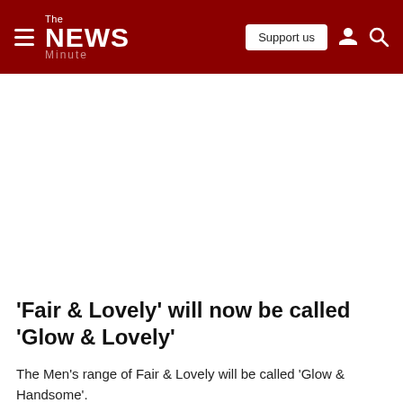The News Minute — Support us
'Fair & Lovely' will now be called 'Glow & Lovely'
The Men's range of Fair & Lovely will be called 'Glow & Handsome'.